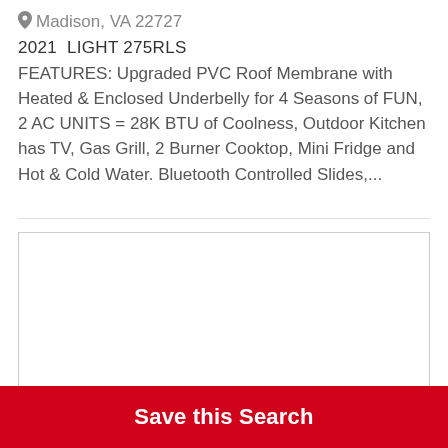Madison, VA 22727
2021  LIGHT 275RLS
FEATURES: Upgraded PVC Roof Membrane with Heated & Enclosed Underbelly for 4 Seasons of FUN, 2 AC UNITS = 28K BTU of Coolness, Outdoor Kitchen has TV, Gas Grill, 2 Burner Cooktop, Mini Fridge and Hot & Cold Water. Bluetooth Controlled Slides,...
[Figure (photo): Empty white image placeholder box with thin gray border]
Save this Search